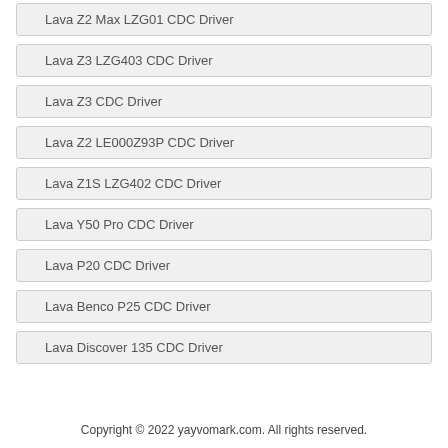Lava Z2 Max LZG01 CDC Driver
Lava Z3 LZG403 CDC Driver
Lava Z3 CDC Driver
Lava Z2 LE000Z93P CDC Driver
Lava Z1S LZG402 CDC Driver
Lava Y50 Pro CDC Driver
Lava P20 CDC Driver
Lava Benco P25 CDC Driver
Lava Discover 135 CDC Driver
Copyright © 2022 yayvomark.com. All rights reserved.